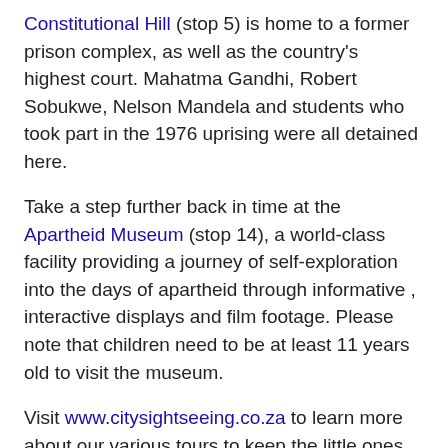Constitutional Hill (stop 5) is home to a former prison complex, as well as the country's highest court. Mahatma Gandhi, Robert Sobukwe, Nelson Mandela and students who took part in the 1976 uprising were all detained here.
Take a step further back in time at the Apartheid Museum (stop 14), a world-class facility providing a journey of self-exploration into the days of apartheid through informative , interactive displays and film footage. Please note that children need to be at least 11 years old to visit the museum.
Visit www.citysightseeing.co.za to learn more about our various tours to keep the little ones busy these school holidays.
Facebook: https://www.facebook.com/CitySightseeingSouthAfrica
Twitter: https://twitter.com/CapeTownRedBus